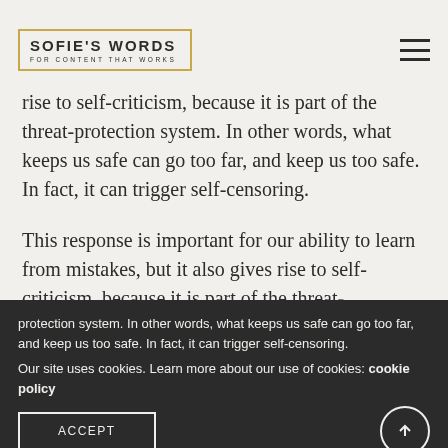SOFIE'S WORDS FOR CONTENT THAT WORKS
rise to self-criticism, because it is part of the threat-protection system. In other words, what keeps us safe can go too far, and keep us too safe. In fact, it can trigger self-censoring.
This response is important for our ability to learn from mistakes, but it also gives rise to self-criticism, because it is part of the threat-protection system. In other words, what keeps us safe can go too far, and keep us too safe. In fact, it can trigger self-censoring.
Our site uses cookies. Learn more about our use of cookies: cookie policy
ACCEPT